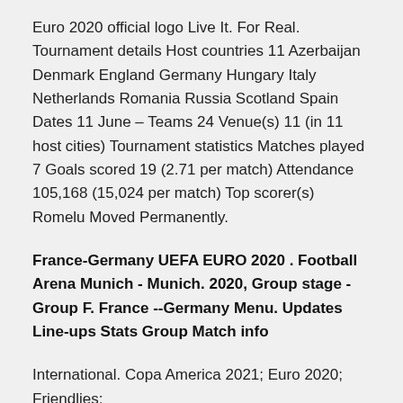Euro 2020 official logo Live It. For Real. Tournament details Host countries 11 Azerbaijan Denmark England Germany Hungary Italy Netherlands Romania Russia Scotland Spain Dates 11 June – Teams 24 Venue(s) 11 (in 11 host cities) Tournament statistics Matches played 7 Goals scored 19 (2.71 per match) Attendance 105,168 (15,024 per match) Top scorer(s) Romelu Moved Permanently.
France-Germany UEFA EURO 2020 . Football Arena Munich - Munich. 2020, Group stage - Group F. France --Germany Menu. Updates Line-ups Stats Group Match info
International. Copa America 2021; Euro 2020; Friendlies;